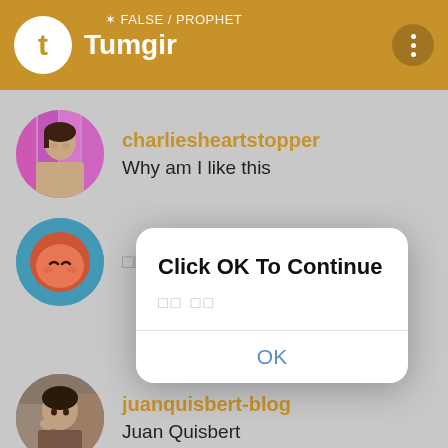Tumgir — FALSE / PROPHET
[Figure (screenshot): Tumblr/Tumgir app feed showing user avatars and usernames: charliesheartstopper (Why am I like this), juanquisbert-blog (Juan Quisbert), prince-tumi (Prince Tumi), with a modal dialog overlay saying Click OK To Continue with OK button]
charliesheartstopper — Why am I like this
juanquisbert-blog — Juan Quisbert
prince-tumi — Prince Tumi